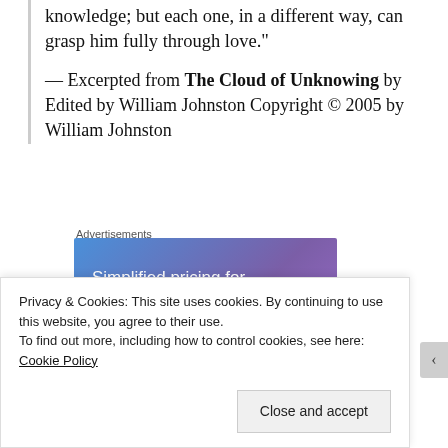knowledge; but each one, in a different way, can grasp him fully through love."
— Excerpted from The Cloud of Unknowing by Edited by William Johnston Copyright © 2005 by William Johnston
Advertisements
[Figure (other): Advertisement banner: 'Simplified pricing for everything you need. Build Your Website' on a blue-purple gradient background]
Privacy & Cookies: This site uses cookies. By continuing to use this website, you agree to their use.
To find out more, including how to control cookies, see here: Cookie Policy
Close and accept